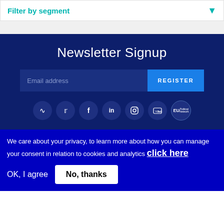Filter by segment
Newsletter Signup
Email address
REGISTER
[Figure (infographic): Social media icons row: RSS, Twitter, Facebook, LinkedIn, Instagram, YouTube, EU Political Network]
We care about your privacy, to learn more about how you can manage your consent in relation to cookies and analytics click here
OK, I agree
No, thanks